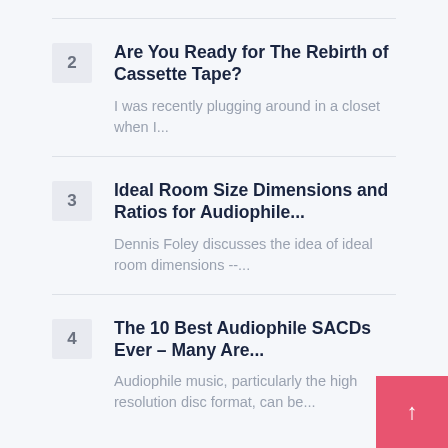2 Are You Ready for The Rebirth of Cassette Tape? I was recently plugging around in a closet when I...
3 Ideal Room Size Dimensions and Ratios for Audiophile... Dennis Foley discusses the idea of ideal room dimensions --...
4 The 10 Best Audiophile SACDs Ever – Many Are... Audiophile music, particularly the high resolution disc format, can be...